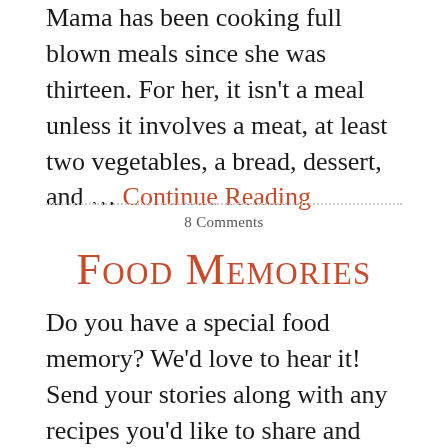Mama has been cooking full blown meals since she was thirteen. For her, it isn't a meal unless it involves a meat, at least two vegetables, a bread, dessert, and ... Continue Reading
8 Comments
Food Memories
Do you have a special food memory? We'd love to hear it! Send your stories along with any recipes you'd like to share and we'll add them to the site. We might even do a tutorial on your family's recipe and include your memory and name as the headline! Email All